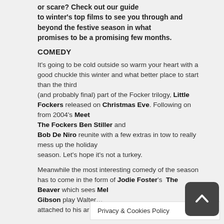or scare? Check out our guide to winter's top films to see you through and beyond the festive season in what promises to be a promising few months.
COMEDY
It's going to be cold outside so warm your heart with a good chuckle this winter and what better place to start than the third (and probably final) part of the Focker trilogy, Little Fockers released on Christmas Eve. Following on from 2004's Meet The Fockers Ben Stiller and Bob De Niro reunite with a few extras in tow to really mess up the holiday season. Let's hope it's not a turkey.
Meanwhile the most interesting comedy of the season has to come in the form of Jodie Foster's The Beaver which sees Mel Gibson play Walter… attached to his ar…
Privacy & Cookies Policy